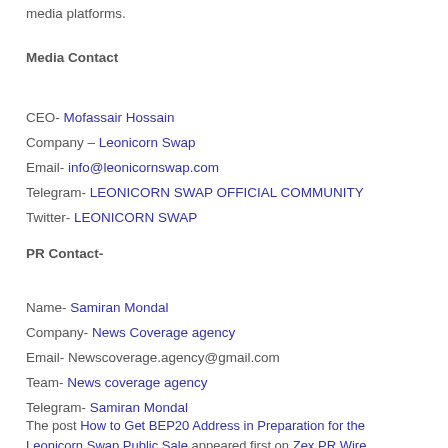media platforms.
Media Contact
CEO- Mofassair Hossain
Company – Leonicorn Swap
Email- info@leonicornswap.com
Telegram- LEONICORN SWAP OFFICIAL COMMUNITY
Twitter- LEONICORN SWAP
PR Contact-
Name- Samiran Mondal
Company- News Coverage agency
Email- Newscoverage.agency@gmail.com
Team- News coverage agency
Telegram- Samiran Mondal
The post How to Get BEP20 Address in Preparation for the Leonicorn Swap Public Sale appeared first on Zex PR Wire.